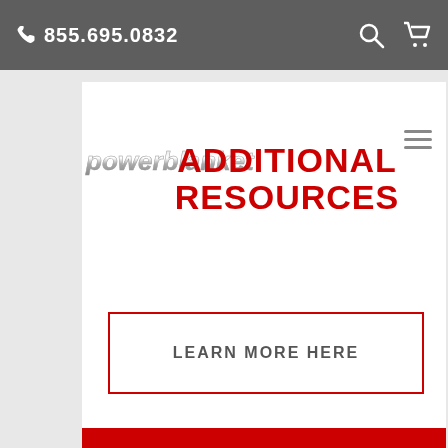855.695.0832
[Figure (logo): Powerblanket logo — stylized metallic/chrome and red lettering on white background]
ADDITIONAL RESOURCES
LEARN MORE HERE